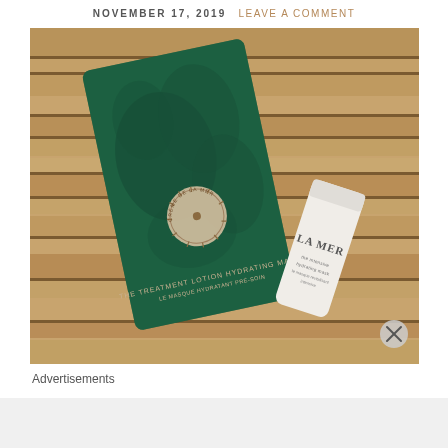NOVEMBER 17, 2019   LEAVE A COMMENT
[Figure (photo): La Mer skincare products on a wooden surface: a green La Mer Treatment Lotion Hydrating Mask packet and a white La Mer tube labeled 'the intensive hydrating mask']
Advertisements